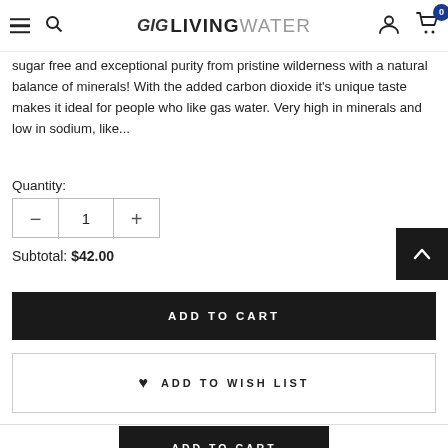GIG LIVING WATER — navigation header with hamburger, search, logo, user icon, cart (0)
sugar free and exceptional purity from pristine wilderness with a natural balance of minerals! With the added carbon dioxide it's unique taste makes it ideal for people who like gas water. Very high in minerals and low in sodium, like...
Quantity:
1
Subtotal: $42.00
ADD TO CART
♥ ADD TO WISH LIST
ADD TO CART